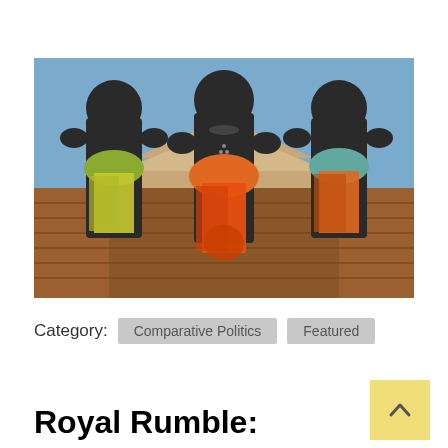[Figure (photo): Three dark bronze/black statues of figures dressed in colorful fabric sashes (orange, green/yellow, teal) standing in front of a building with a tiled roof and blue sky background]
Category:  Comparative Politics  Featured
Royal Rumble: